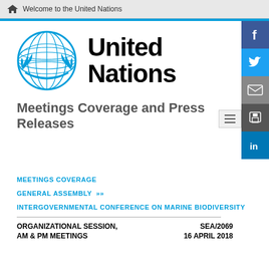Welcome to the United Nations
[Figure (logo): United Nations emblem (blue globe with olive branches) alongside bold text 'United Nations']
Meetings Coverage and Press Releases
MEETINGS COVERAGE
GENERAL ASSEMBLY »
INTERGOVERNMENTAL CONFERENCE ON MARINE BIODIVERSITY
ORGANIZATIONAL SESSION,    SEA/2069
AM & PM MEETINGS         16 APRIL 2018